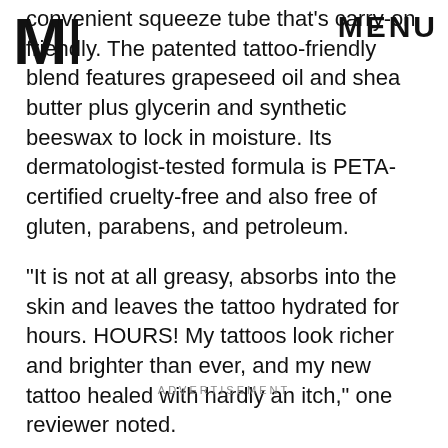MIC | MENU
convenient squeeze tube that's carry-on friendly. The patented tattoo-friendly blend features grapeseed oil and shea butter plus glycerin and synthetic beeswax to lock in moisture. Its dermatologist-tested formula is PETA-certified cruelty-free and also free of gluten, parabens, and petroleum.
"It is not at all greasy, absorbs into the skin and leaves the tattoo hydrated for hours. HOURS! My tattoos look richer and brighter than ever, and my new tattoo healed with hardly an itch," one reviewer noted.
ADVERTISEMENT